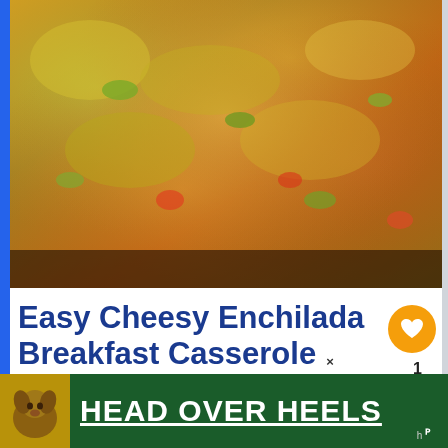[Figure (photo): Close-up photo of a cheesy enchilada breakfast casserole with melted cheese, green peppers, and tomatoes]
Easy Cheesy Enchilada Breakfast Casserole
Easy Cheesy Enchilada Breakfast Casserole is a simple breakfast casserole with a southwest flair! It's
[Figure (infographic): What's Next panel showing Sausage and Egg Breakfa...]
[Figure (photo): Advertisement banner: HEAD OVER HEELS with dog photo on dark green background]